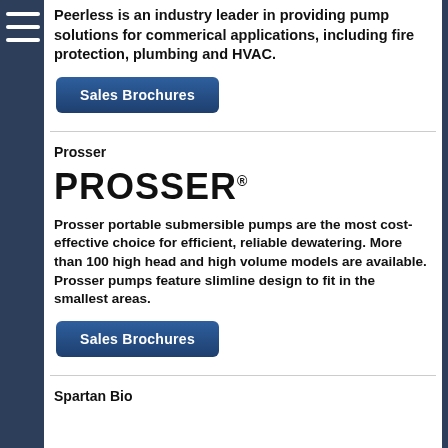[Figure (other): Hamburger menu navigation icon (three horizontal white lines) on dark blue background]
Peerless is an industry leader in providing pump solutions for commerical applications, including fire protection, plumbing and HVAC.
[Figure (other): Sales Brochures button (blue rounded rectangle)]
Prosser
[Figure (logo): PROSSER logo in large bold black text with registered trademark symbol]
Prosser portable submersible pumps are the most cost-effective choice for efficient, reliable dewatering. More than 100 high head and high volume models are available. Prosser pumps feature slimline design to fit in the smallest areas.
[Figure (other): Sales Brochures button (blue rounded rectangle)]
Spartan Bio